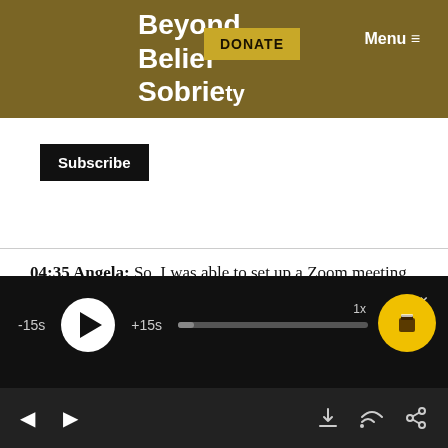Beyond Belief Sobriety
Subscribe
04:35 Angela: So, I was able to set up a Zoom meeting for our group, which was nice, and I appreciate them for being there so I could learn how to do it. But there were a lot of people that weren't. And so, I have been noticing lately, even as places like California have the shelter in place thing going on right now, there are still people that are doing meetings, face-to-face meetings
[Figure (screenshot): Audio player controls: -15s rewind button, play button (white circle with triangle), +15s forward button, progress bar, 1x speed indicator, tip button (yellow circle with cup icon), chevron down, bottom navigation bar with back/forward arrows, download, cast, and share icons]